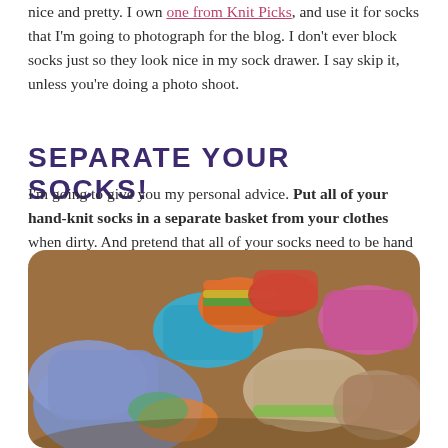nice and pretty. I own one from Knit Picks, and use it for socks that I'm going to photograph for the blog. I don't ever block socks just so they look nice in my sock drawer. I say skip it, unless you're doing a photo shoot.
SEPARATE YOUR SOCKS!
I'm going to give you my personal advice. Put all of your hand-knit socks in a separate basket from your clothes when dirty. And pretend that all of your socks need to be hand washed.
[Figure (photo): A colorful pile of hand-knit socks in various colors including blue, orange, green, red, pink, and beige, piled on a wooden surface.]